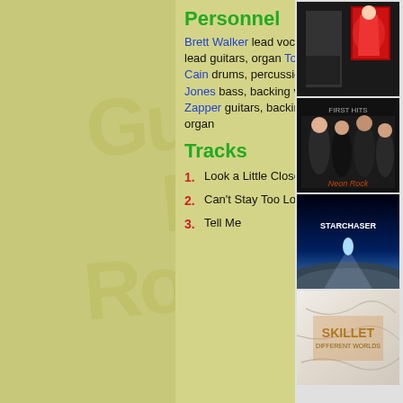Personnel
Brett Walker lead vocals, slide & lead guitars, organ Tommy Mugs Cain drums, percussion Brian Jones bass, backing vocals Brad Zapper guitars, backing vocals, organ
Tracks
1. Look a Little Closer
2. Can't Stay Too Long
3. Tell Me
[Figure (photo): Band photo with a woman in red dress]
[Figure (photo): Band photo with text First Hits]
[Figure (photo): Starchaser album cover - sci-fi space scene]
[Figure (photo): Skillet Different Worlds album cover - marble and gold text]